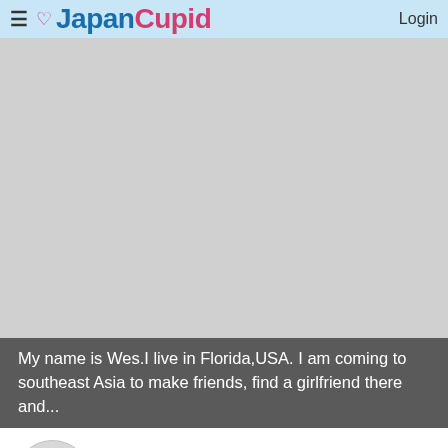JapanCupid Login
[Figure (photo): Large gray placeholder area representing a user profile photo background]
My name is Wes.I live in Florida,USA. I am coming to southeast Asia to make friends, find a girlfriend there and...
Ronald  52 • Pensacola, Florida, United States